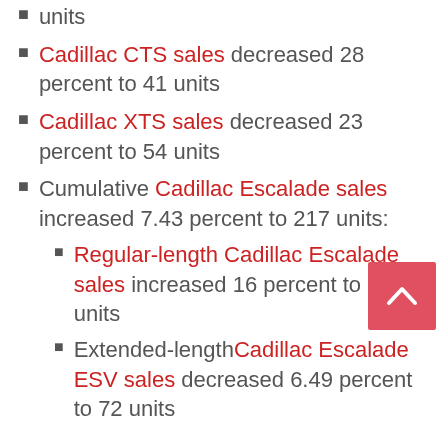units
Cadillac CTS sales decreased 28 percent to 41 units
Cadillac XTS sales decreased 23 percent to 54 units
Cumulative Cadillac Escalade sales increased 7.43 percent to 217 units:
Regular-length Cadillac Escalade sales increased 16 percent to 145 units
Extended-length Cadillac Escalade ESV sales decreased 6.49 percent to 72 units
Cadillac XT5 sales decreased 8.15 percent to 541 units